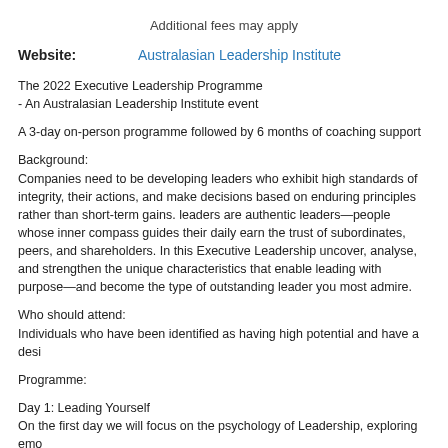Additional fees may apply
Website: Australasian Leadership Institute
The 2022 Executive Leadership Programme
- An Australasian Leadership Institute event
A 3-day on-person programme followed by 6 months of coaching support
Background:
Companies need to be developing leaders who exhibit high standards of integrity, take responsibility for their actions, and make decisions based on enduring principles rather than short-term gains. These leaders are authentic leaders—people whose inner compass guides their daily decisions and helps them earn the trust of subordinates, peers, and shareholders. In this Executive Leadership programme, you will uncover, analyse, and strengthen the unique characteristics that enable leading with authenticity and purpose—and become the type of outstanding leader you most admire.
Who should attend:
Individuals who have been identified as having high potential and have a desi
Programme:
Day 1: Leading Yourself
On the first day we will focus on the psychology of Leadership, exploring emo